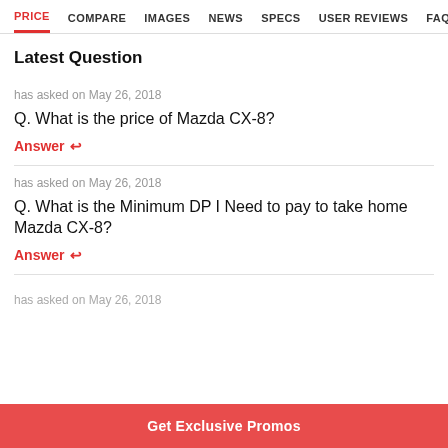PRICE  COMPARE  IMAGES  NEWS  SPECS  USER REVIEWS  FAQS
Latest Question
has asked on May 26, 2018
Q. What is the price of Mazda CX-8?
Answer
has asked on May 26, 2018
Q. What is the Minimum DP I Need to pay to take home Mazda CX-8?
Answer
has asked on May 26, 2018
Get Exclusive Promos